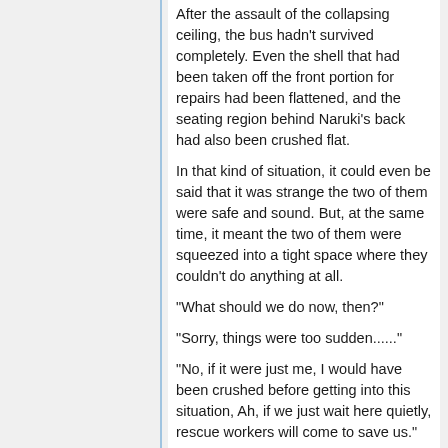After the assault of the collapsing ceiling, the bus hadn't survived completely. Even the shell that had been taken off the front portion for repairs had been flattened, and the seating region behind Naruki's back had also been crushed flat.
In that kind of situation, it could even be said that it was strange the two of them were safe and sound. But, at the same time, it meant the two of them were squeezed into a tight space where they couldn't do anything at all.
"What should we do now, then?"
"Sorry, things were too sudden......"
"No, if it were just me, I would have been crushed before getting into this situation, Ah, if we just wait here quietly, rescue workers will come to save us."
"Yes."